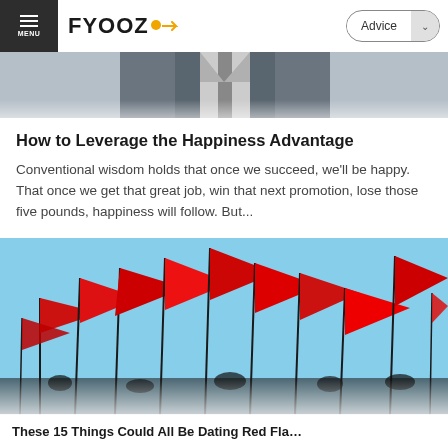FYOOZ — Advice
[Figure (photo): Person in business attire, partially visible, light gray background — hero image top]
How to Leverage the Happiness Advantage
Conventional wisdom holds that once we succeed, we'll be happy. That once we get that great job, win that next promotion, lose those five pounds, happiness will follow. But...
[Figure (photo): Many red flags waving against a blue sky]
These 15 Things Could All Be Dating Red Fla…